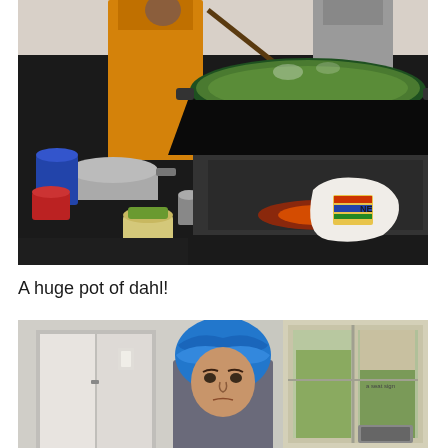[Figure (photo): Kitchen scene with people in orange/saffron robes stirring a very large black wok/pot filled with green liquid (dahl), on a dark stone counter. Various pots, buckets, and bags visible in the foreground and background.]
A huge pot of dahl!
[Figure (photo): Person wearing a blue head covering/turban, standing in front of a doorway and windows. The background shows an indoor/outdoor area.]